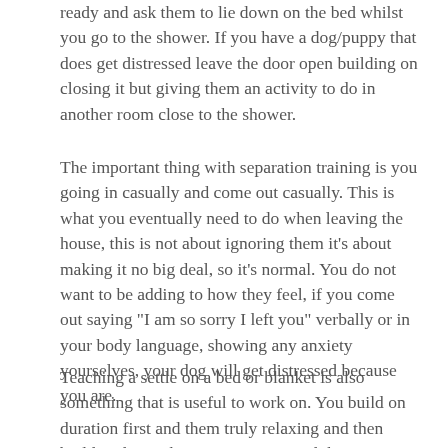ready and ask them to lie down on the bed whilst you go to the shower. If you have a dog/puppy that does get distressed leave the door open building on closing it but giving them an activity to do in another room close to the shower.
The important thing with separation training is you going in casually and come out casually. This is what you eventually need to do when leaving the house, this is not about ignoring them it's about making it no big deal, so it's normal. You do not want to be adding to how they feel, if you come out saying "I am so sorry I left you" verbally or in your body language, showing any anxiety yourselves, your dog will get distressed because you are.
Teaching a settle on a bed or blanket is also something that is useful to work on. You build on duration first and them truly relaxing and then build in doing short activities around them